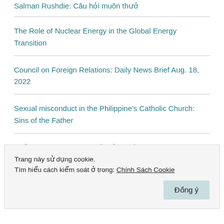Salman Rushdie: Câu hỏi muôn thưở
The Role of Nuclear Energy in the Global Energy Transition
Council on Foreign Relations: Daily News Brief Aug. 18, 2022
Sexual misconduct in the Philippine's Catholic Church: Sins of the Father
Những khách hàng trọn đời của chống lão hóa: Chưa 30 đã sợ da mồi tóc sương
Trang này sử dụng cookie.
Tìm hiểu cách kiểm soát ở trong: Chính Sách Cookie
Đồng ý